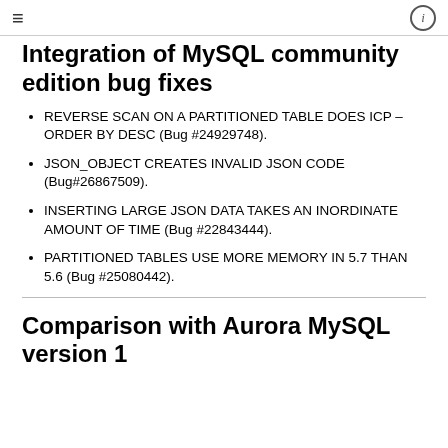≡   ⓘ
Integration of MySQL community edition bug fixes
REVERSE SCAN ON A PARTITIONED TABLE DOES ICP – ORDER BY DESC (Bug #24929748).
JSON_OBJECT CREATES INVALID JSON CODE (Bug#26867509).
INSERTING LARGE JSON DATA TAKES AN INORDINATE AMOUNT OF TIME (Bug #22843444).
PARTITIONED TABLES USE MORE MEMORY IN 5.7 THAN 5.6 (Bug #25080442).
Comparison with Aurora MySQL version 1